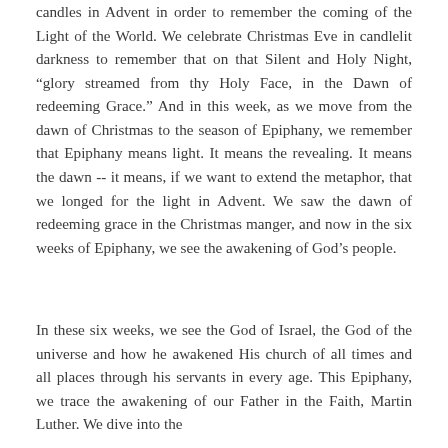candles in Advent in order to remember the coming of the Light of the World. We celebrate Christmas Eve in candlelit darkness to remember that on that Silent and Holy Night, “glory streamed from thy Holy Face, in the Dawn of redeeming Grace.” And in this week, as we move from the dawn of Christmas to the season of Epiphany, we remember that Epiphany means light. It means the revealing. It means the dawn -- it means, if we want to extend the metaphor, that we longed for the light in Advent. We saw the dawn of redeeming grace in the Christmas manger, and now in the six weeks of Epiphany, we see the awakening of God’s people.
In these six weeks, we see the God of Israel, the God of the universe and how he awakened His church of all times and all places through his servants in every age. This Epiphany, we trace the awakening of our Father in the Faith, Martin Luther. We dive into the